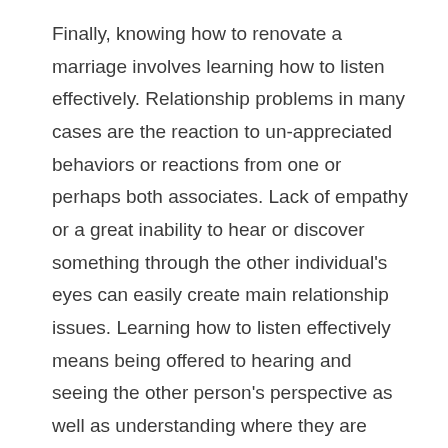Finally, knowing how to renovate a marriage involves learning how to listen effectively. Relationship problems in many cases are the reaction to un-appreciated behaviors or reactions from one or perhaps both associates. Lack of empathy or a great inability to hear or discover something through the other individual's eyes can easily create main relationship issues. Learning how to listen effectively means being offered to hearing and seeing the other person's perspective as well as understanding where they are really coming from.
This kind of road map with regards to relationships includes a lot of ground and requires a lot of effort with your part to get all the things done. However, if you apply yourself, the outcomes can be nothing short of spectacular. Your relationship with the partner will be